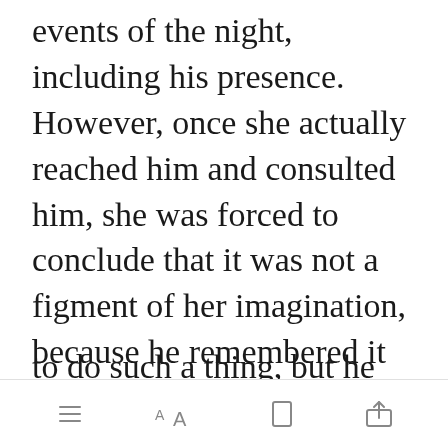events of the night, including his presence. However, once she actually reached him and consulted him, she was forced to conclude that it was not a figment of her imagination, because he remembered it all. This brought her back to the beginning with regards to the question of why the spell was gone. Colin said he had not removed it himself. He [Open in app] erful enough to do such a thing, but he did not
toolbar icons: list, text size, bookmark, share